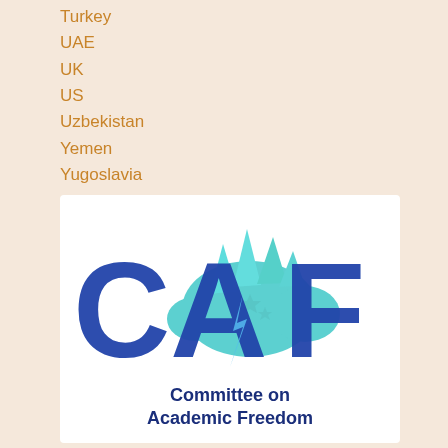Turkey
UAE
UK
US
Uzbekistan
Yemen
Yugoslavia
[Figure (logo): CAF - Committee on Academic Freedom logo. Large bold distressed blue letters 'CAF' with a teal/cyan dinosaur silhouette behind them, and the text 'Committee on Academic Freedom' in dark navy blue below.]